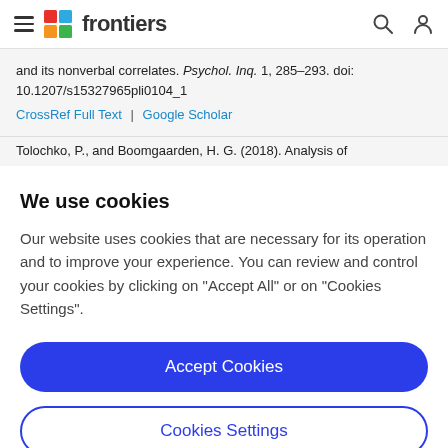frontiers
and its nonverbal correlates. Psychol. Inq. 1, 285–293. doi: 10.1207/s15327965pli0104_1
CrossRef Full Text | Google Scholar
Tolochko, P., and Boomgaarden, H. G. (2018). Analysis of
We use cookies
Our website uses cookies that are necessary for its operation and to improve your experience. You can review and control your cookies by clicking on "Accept All" or on "Cookies Settings".
Accept Cookies
Cookies Settings